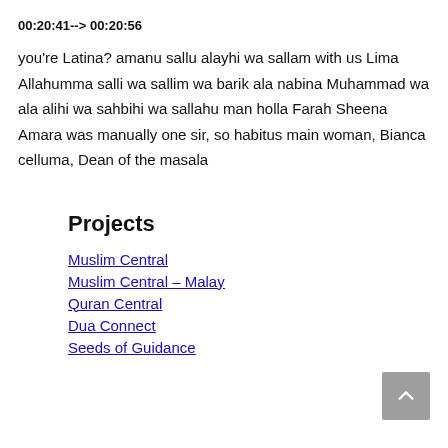00:20:41--> 00:20:56
you're Latina? amanu sallu alayhi wa sallam with us Lima Allahumma salli wa sallim wa barik ala nabina Muhammad wa ala alihi wa sahbihi wa sallahu man holla Farah Sheena Amara was manually one sir, so habitus main woman, Bianca celluma, Dean of the masala
Projects
Muslim Central
Muslim Central – Malay
Quran Central
Dua Connect
Seeds of Guidance